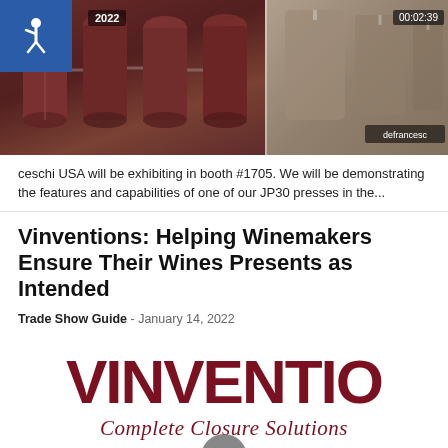[Figure (screenshot): Two wine tank/press images side by side. Left image shows red wine tanks/presses. Right image shows wine equipment with 'defrancesc' logo visible. Overlay: accessibility icon (blue square, wheelchair symbol), year badge '2022', timestamp '00:02:39'.]
ceschi USA will be exhibiting in booth #1705. We will be demonstrating the features and capabilities of one of our JP30 presses in the...
Vinventions: Helping Winemakers Ensure Their Wines Presents as Intended
Trade Show Guide  -  January 14, 2022
[Figure (screenshot): Vinventions brand image showing large dark-red text 'VINVENTIO' (cropped), subtitle 'Complete Closure Solutions' in dark red italic, a play button overlay, and three closure product icons at the bottom (green leaf shape, blue round shape, tan/brown shape). Back-to-top button in bottom right corner.]